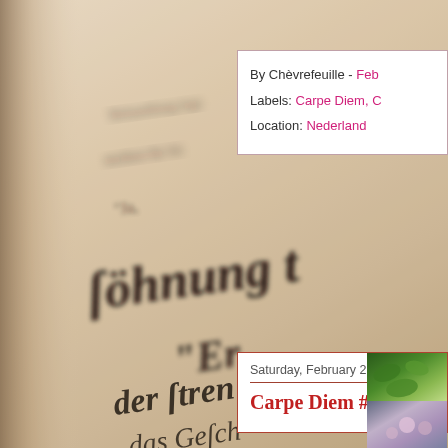[Figure (photo): Blurred close-up photograph of an old book open to pages with Gothic/blackletter German text. The pages are sepia/cream colored with dark brown ink in old German script. Text visible includes 'söhnung', 'Er', 'der ftren', 'das Gefch', 'zwei', 'Tob' and other Gothic script fragments.]
By Chèvrefeuille - Feb
Labels: Carpe Diem, C
Location: Nederland
Saturday, February 23
Carpe Diem #
[Figure (photo): Small nature photograph showing green foliage and possibly flowers, partially visible at the right edge of the page.]